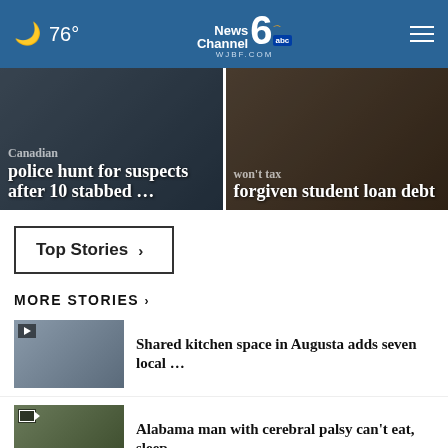76° NewsChannel 6 abc WJBF.COM
[Figure (screenshot): Hero image left: Canadian police hunt for suspects after 10 stabbed ...]
[Figure (screenshot): Hero image right: won't tax forgiven student loan debt]
Top Stories ›
MORE STORIES ›
[Figure (screenshot): Thumbnail for shared kitchen space story]
Shared kitchen space in Augusta adds seven local …
[Figure (screenshot): Thumbnail for Alabama man cerebral palsy story]
Alabama man with cerebral palsy can't eat, sleep …
[Figure (screenshot): Thumbnail for FDA COVID booster story]
FDA approves COVID booster shots